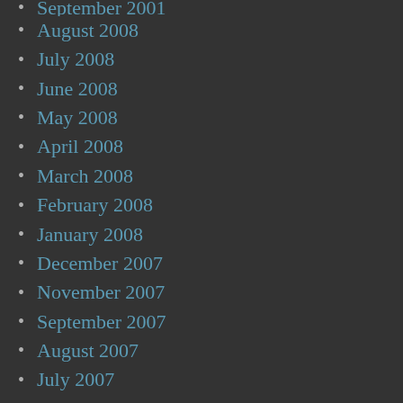September 2001
August 2008
July 2008
June 2008
May 2008
April 2008
March 2008
February 2008
January 2008
December 2007
November 2007
September 2007
August 2007
July 2007
June 2007
May 2007
April 2007